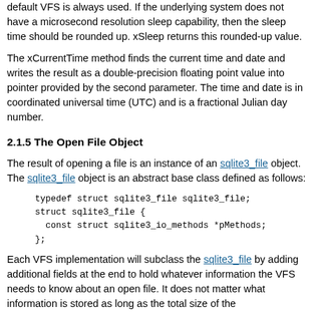default VFS is always used. If the underlying system does not have a microsecond resolution sleep capability, then the sleep time should be rounded up. xSleep returns this rounded-up value.
The xCurrentTime method finds the current time and date and writes the result as a double-precision floating point value into pointer provided by the second parameter. The time and date is in coordinated universal time (UTC) and is a fractional Julian day number.
2.1.5 The Open File Object
The result of opening a file is an instance of an sqlite3_file object. The sqlite3_file object is an abstract base class defined as follows:
Each VFS implementation will subclass the sqlite3_file by adding additional fields at the end to hold whatever information the VFS needs to know about an open file. It does not matter what information is stored as long as the total size of the